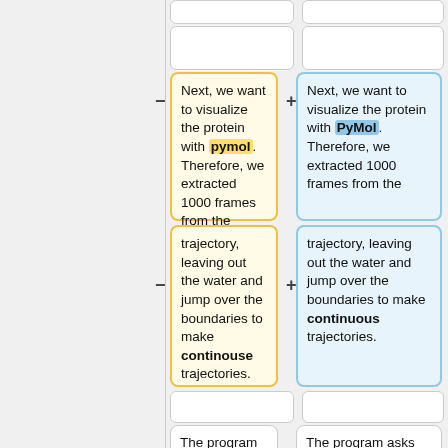Next, we want to visualize the protein with pymol. Therefore, we extracted 1000 frames from the
Next, we want to visualize the protein with PyMol. Therefore, we extracted 1000 frames from the
trajectory, leaving out the water and jump over the boundaries to make continouse trajectories.
trajectory, leaving out the water and jump over the boundaries to make continuous trajectories.
The program asks for the a group as output. We only want to see the protein, therefore we decided to choose group 1.
The program asks for the a group as output. We only want to see the protein, therefore we decided to choose group 1.